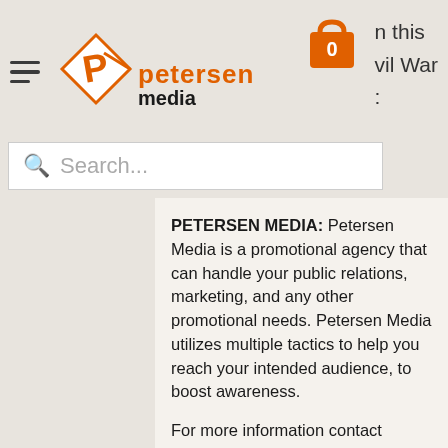Petersen Media logo header with hamburger menu, shopping cart (0), and partial text 'n this', 'vil War', ':'
Search...
PETERSEN MEDIA: Petersen Media is a promotional agency that can handle your public relations, marketing, and any other promotional needs. Petersen Media utilizes multiple tactics to help you reach your intended audience, to boost awareness.
For more information contact sales@petersenmediainc.com, by phone at 916-342-3424, visit www.petersenmediainc.com, www.facebook.com/PetersenMedia